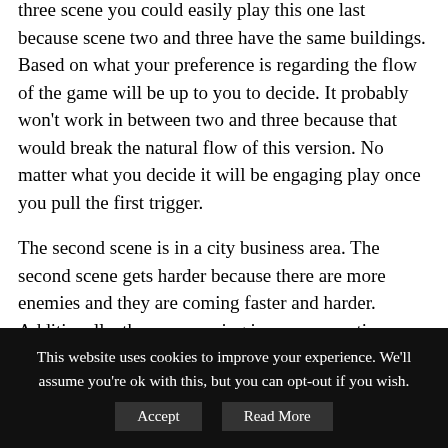three scene you could easily play this one last because scene two and three have the same buildings. Based on what your preference is regarding the flow of the game will be up to you to decide. It probably won't work in between two and three because that would break the natural flow of this version. No matter what you decide it will be engaging play once you pull the first trigger.
The second scene is in a city business area. The second scene gets harder because there are more enemies and they are coming faster and harder. Additionally, they are moving in a more erratic way. Although, accuracy is up and shots are down
This website uses cookies to improve your experience. We'll assume you're ok with this, but you can opt-out if you wish. Accept Read More